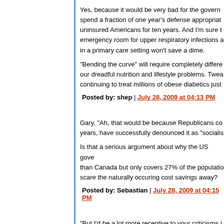Yes, because it would be very bad for the government to spend a fraction of one year's defense appropriation to cover uninsured Americans for ten years. And I'm sure that treating emergency room for upper respiratory infections and treating in a primary care setting won't save a dime.
"Bending the curve" will require completely different approaches to our dreadful nutrition and lifestyle problems. Tweaking and continuing to treat millions of obese diabetics just...
Posted by: shep | July 28, 2009 at 04:13 PM
Gary, "Ah, that would be because Republicans co... years, have successfully denounced it as "socialis...
Is that a serious argument about why the US government spends more than Canada but only covers 27% of the population... scare the naturally occuring cost savings away?
Posted by: Sebastian | July 28, 2009 at 04:15 PM
"But I'd be a lot more receptive to your criticisms if... business of suggesting viable alternatives. "